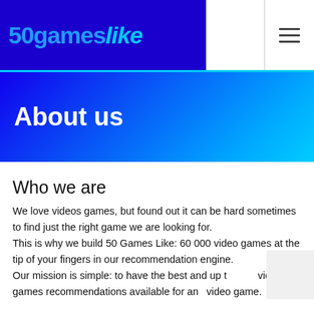50gameslike
About us
Who we are
We love videos games, but found out it can be hard sometimes to find just the right game we are looking for.
This is why we build 50 Games Like: 60 000 video games at the tip of your fingers in our recommendation engine.
Our mission is simple: to have the best and up to date video games recommendations available for any video game.